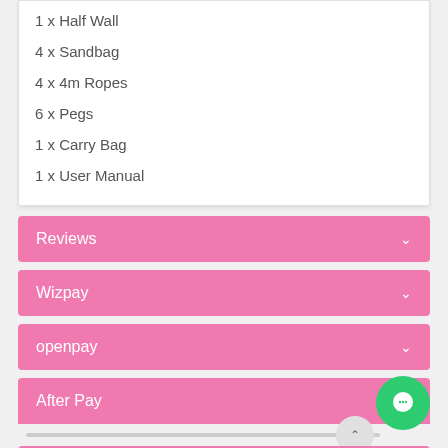1 x Half Wall
4 x Sandbag
4 x 4m Ropes
6 x Pegs
1 x Carry Bag
1 x User Manual
Reviews
Wizpay
openpay
After Pay
Humm
Zip pay